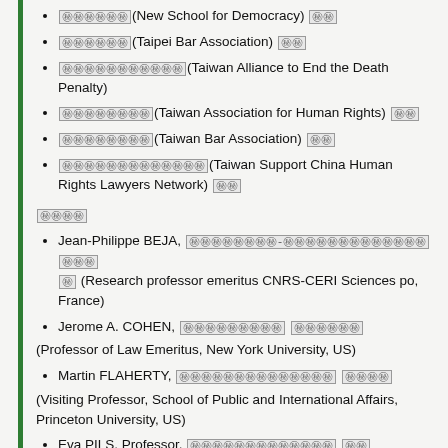㊙㊙㊙㊙㊙㊙(New School for Democracy) ㊙㊙
㊙㊙㊙㊙㊙㊙(Taipei Bar Association) ㊙㊙
㊙㊙㊙㊙㊙㊙㊙㊙㊙㊙㊙(Taiwan Alliance to End the Death Penalty)
㊙㊙㊙㊙㊙㊙㊙㊙(Taiwan Association for Human Rights) ㊙㊙
㊙㊙㊙㊙㊙㊙㊙㊙(Taiwan Bar Association) ㊙㊙
㊙㊙㊙㊙㊙㊙㊙㊙㊙㊙㊙㊙㊙(Taiwan Support China Human Rights Lawyers Network) ㊙㊙
㊙㊙㊙㊙
Jean-Philippe BEJA, ㊙㊙㊙㊙㊙㊙㊙㊙-㊙㊙㊙㊙㊙㊙㊙㊙㊙㊙㊙㊙㊙ ㊙㊙㊙ ㊙ (Research professor emeritus CNRS-CERI Sciences po, France)
Jerome A. COHEN, ㊙㊙㊙㊙㊙㊙㊙㊙㊙ ㊙㊙㊙㊙㊙㊙
(Professor of Law Emeritus, New York University, US)
Martin FLAHERTY, ㊙㊙㊙㊙㊙㊙㊙㊙㊙㊙㊙㊙㊙㊙ ㊙㊙㊙㊙
(Visiting Professor, School of Public and International Affairs, Princeton University, US)
Eva PILS, Professor, ㊙㊙㊙㊙㊙㊙㊙㊙㊙㊙㊙㊙㊙ ㊙㊙